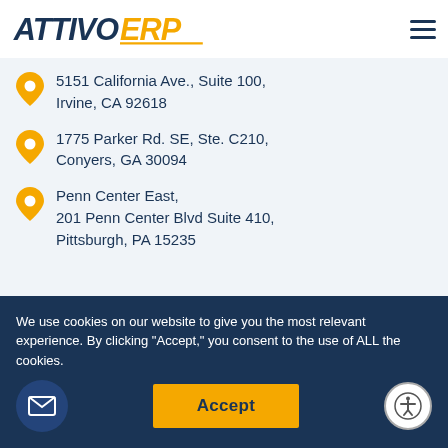Attivo ERP
5151 California Ave., Suite 100, Irvine, CA 92618
1775 Parker Rd. SE, Ste. C210, Conyers, GA 30094
Penn Center East, 201 Penn Center Blvd Suite 410, Pittsburgh, PA 15235
Home
Software
Problems We Solve
Implementation
Industries
Strategic Partners
We use cookies on our website to give you the most relevant experience. By clicking "Accept," you consent to the use of ALL the cookies.